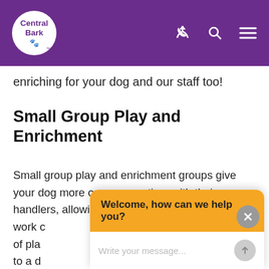Central Bark
enriching for your dog and our staff too!
Small Group Play and Enrichment
Small group play and enrichment groups give your dog more one-on-one time with their handlers, allowing our staff to teach your dog, work c... of pla... to a d... health... physic...
[Figure (screenshot): Chat widget overlay with gold header saying 'Welcome, how can we help you?' and an input field with placeholder 'Write your message...']